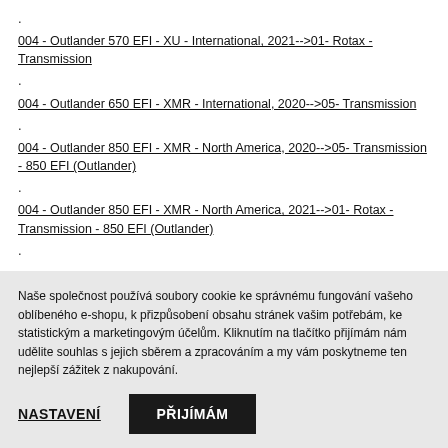.
004 - Outlander 570 EFI - XU - International, 2021-->01- Rotax - Transmission
.
004 - Outlander 650 EFI - XMR - International, 2020-->05- Transmission
.
004 - Outlander 850 EFI - XMR - North America, 2020-->05- Transmission - 850 EFI (Outlander)
.
004 - Outlander 850 EFI - XMR - North America, 2021-->01- Rotax - Transmission - 850 EFI (Outlander)
.
Naše společnost používá soubory cookie ke správnému fungování vašeho oblíbeného e-shopu, k přizpůsobení obsahu stránek vašim potřebám, ke statistickým a marketingovým účelům. Kliknutím na tlačítko přijímám nám udělite souhlas s jejich sběrem a zpracováním a my vám poskytneme ten nejlepší zážitek z nakupování.
NASTAVENÍ
PŘIJÍMÁM